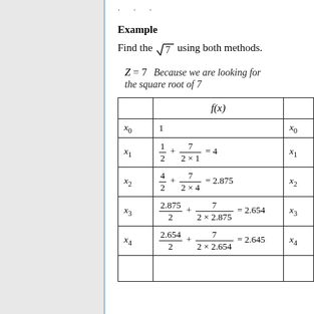Example
Find the √7 using both methods.
|  | f(x) |  |
| --- | --- | --- |
| x₀ | 1 | x₀ |
| x₁ | 1/2 + 7/(2×1) = 4 | x₁ |
| x₂ | 4/2 + 7/(2×4) = 2.875 | x₂ |
| x₃ | 2.875/2 + 7/(2×2.875) = 2.654 | x₃ |
| x₄ | 2.654/2 + 7/(2×2.654) = 2.645 | x₄ |